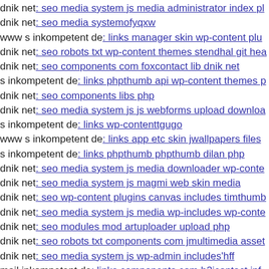dnik net: seo media system js media administrator index pl
dnik net: seo media systemofyqxw
www s inkompetent de: links manager skin wp-content plu
dnik net: seo robots txt wp-content themes stendhal git hea
dnik net: seo components com foxcontact lib dnik net
s inkompetent de: links phpthumb api wp-content themes p
dnik net: seo components libs php
dnik net: seo media system js js webforms upload downloa
s inkompetent de: links wp-contenttgugo
www s inkompetent de: links app etc skin jwallpapers files
s inkompetent de: links phpthumb phpthumb dilan php
dnik net: seo media system js media downloader wp-conte
dnik net: seo media system js magmi web skin media
dnik net: seo wp-content plugins canvas includes timthumb
dnik net: seo media system js media wp-includes wp-conte
dnik net: seo modules mod artuploader upload php
dnik net: seo robots txt components com jmultimedia asset
dnik net: seo media system js wp-admin includes'hff
mail inkompetent de: links components com b2jcontact inf
s inkompetent de: links wp-content plugins wp-mobile-det
s inkompetent de: links manager skin